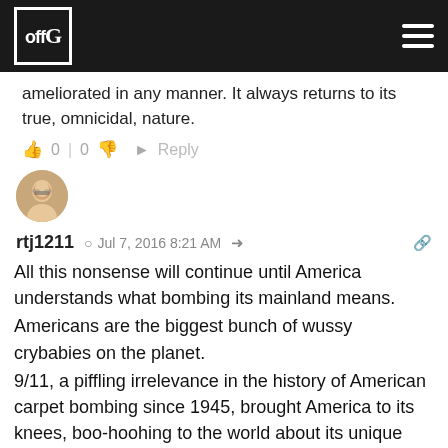offG
ameliorated in any manner. It always returns to its true, omnicidal, nature.
0 | 0  Reply
[Figure (photo): Round avatar photo of a person with glasses]
rtj1211  Jul 7, 2016 8:21 AM
All this nonsense will continue until America understands what bombing its mainland means.
Americans are the biggest bunch of wussy crybabies on the planet.
9/11, a piffling irrelevance in the history of American carpet bombing since 1945, brought America to its knees, boo-hoohing to the world about its unique tragedy.
It is the apotheosis of racist inhumanity to pass off the deaths of 100,000+ foreigners as 'acceptable collateral damage', whilst